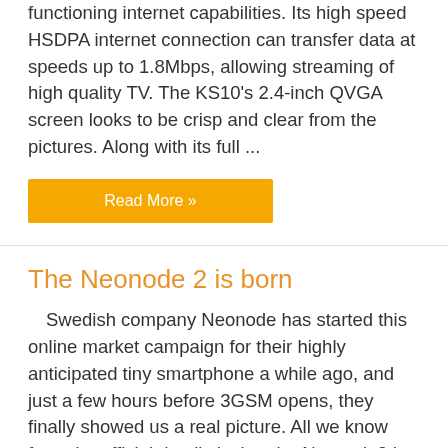functioning internet capabilities. Its high speed HSDPA internet connection can transfer data at speeds up to 1.8Mbps, allowing streaming of high quality TV. The KS10's 2.4-inch QVGA screen looks to be crisp and clear from the pictures. Along with its full ...
Read More »
The Neonode 2 is born
Swedish company Neonode has started this online market campaign for their highly anticipated tiny smartphone a while ago, and just a few hours before 3GSM opens, they finally showed us a real picture. All we know from the official details is that the Neonode2 is 70g and 77mm tall; but rumors are floating around that the device will be ...
Read More »